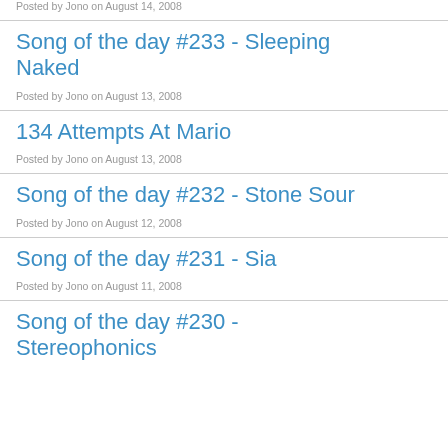Posted by Jono on August 14, 2008
Song of the day #233 - Sleeping Naked
Posted by Jono on August 13, 2008
134 Attempts At Mario
Posted by Jono on August 13, 2008
Song of the day #232 - Stone Sour
Posted by Jono on August 12, 2008
Song of the day #231 - Sia
Posted by Jono on August 11, 2008
Song of the day #230 - Stereophonics